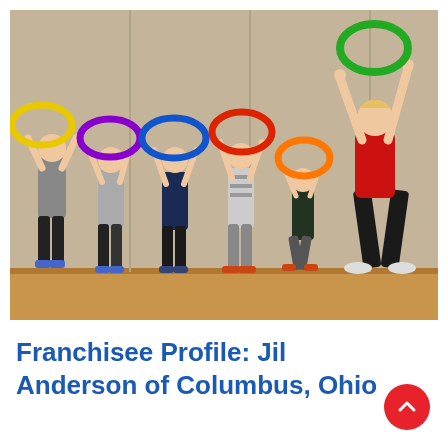[Figure (photo): A woman in a red top and black pants holds a green hoop above her head. Five young children stand beside her each holding colorful hula hoops (yellow, purple, blue, red, orange) above their heads against a beige wall in a gymnasium.]
Franchisee Profile: Jil Anderson of Columbus, Ohio